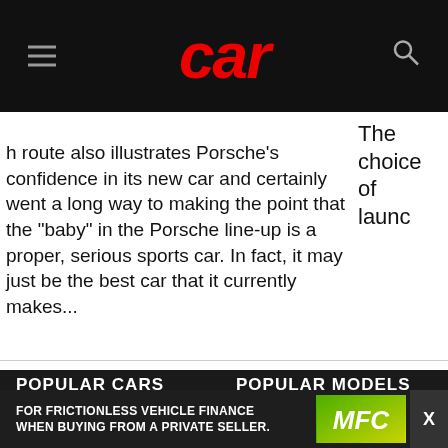[Figure (logo): CAR magazine logo in red italic bold text on black header bar, with hamburger menu icon on left and search icon on right]
The choice of launc
h route also illustrates Porsche's confidence in its new car and certainly went a long way to making the point that the "baby" in the Porsche line-up is a proper, serious sports car. In fact, it may just be the best car that it currently makes...
POPULAR CARS
Toyota
POPULAR MODELS
Hyundai i20
[Figure (infographic): MFC advertisement banner: FOR FRICTIONLESS VEHICLE FINANCE WHEN BUYING FROM A PRIVATE SELLER. with MFC logo on green/yellow diagonal background and X close button]